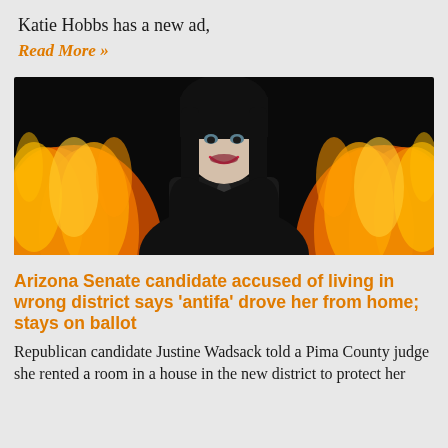Katie Hobbs has a new ad,
Read More »
[Figure (photo): A woman with dark hair and bangs smiling, shown in black and white against a background of bright orange and red flames.]
Arizona Senate candidate accused of living in wrong district says 'antifa' drove her from home; stays on ballot
Republican candidate Justine Wadsack told a Pima County judge she rented a room in a house in the new district to protect her